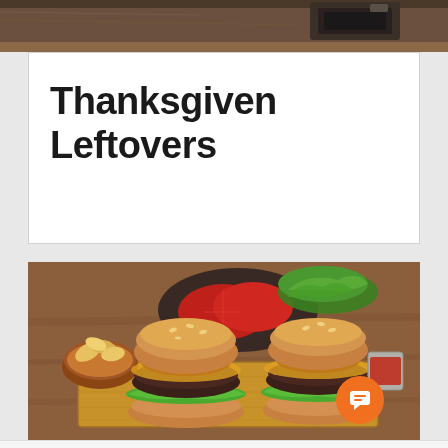[Figure (photo): Top strip showing part of a kitchen appliance or counter surface with dark brown tones]
Thanksgiven Leftovers
[Figure (photo): Two gourmet burgers with caramelized onions on brioche buns, served on a wooden cutting board with chips, tomato slices, lettuce, and a small cup of sauce]
[Figure (other): Orange circular chat/message button icon in the bottom right corner of the burger photo]